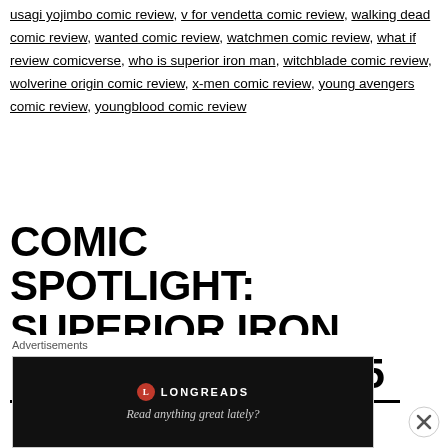usagi yojimbo comic review, v for vendetta comic review, walking dead comic review, wanted comic review, watchmen comic review, what if review comicverse, who is superior iron man, witchblade comic review, wolverine origin comic review, x-men comic review, young avengers comic review, youngblood comic review
COMIC SPOTLIGHT: SUPERIOR IRON MAN(2014-2015) #5
Advertisements
[Figure (other): Longreads advertisement banner with dark background, Longreads logo and tagline 'Read anything great lately?']